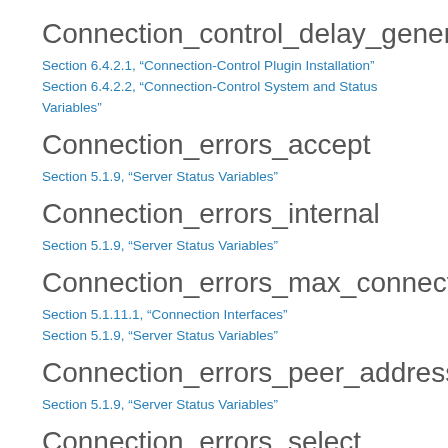Connection_control_delay_generated
Section 6.4.2.1, “Connection-Control Plugin Installation”
Section 6.4.2.2, “Connection-Control System and Status Variables”
Connection_errors_accept
Section 5.1.9, “Server Status Variables”
Connection_errors_internal
Section 5.1.9, “Server Status Variables”
Connection_errors_max_connections
Section 5.1.11.1, “Connection Interfaces”
Section 5.1.9, “Server Status Variables”
Connection_errors_peer_address
Section 5.1.9, “Server Status Variables”
Connection_errors_select